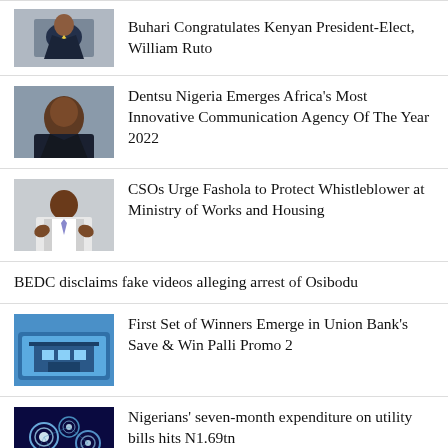Buhari Congratulates Kenyan President-Elect, William Ruto
Dentsu Nigeria Emerges Africa's Most Innovative Communication Agency Of The Year 2022
CSOs Urge Fashola to Protect Whistleblower at Ministry of Works and Housing
BEDC disclaims fake videos alleging arrest of Osibodu
First Set of Winners Emerge in Union Bank's Save & Win Palli Promo 2
Nigerians' seven-month expenditure on utility bills hits N1.69tn